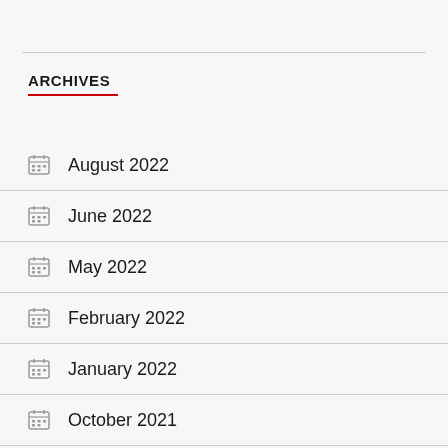ARCHIVES
August 2022
June 2022
May 2022
February 2022
January 2022
October 2021